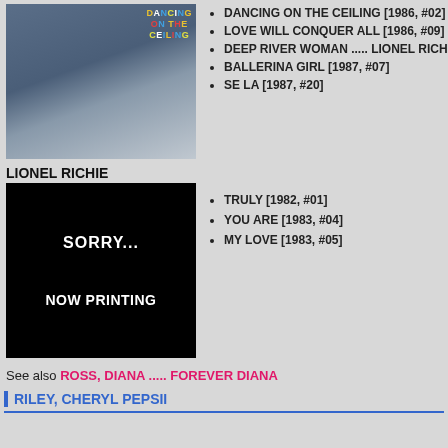[Figure (photo): Album cover for 'Dancing on the Ceiling' by Lionel Richie showing artist in white suit with colorful title text]
DANCING ON THE CEILING [1986, #02]
LOVE WILL CONQUER ALL [1986, #09]
DEEP RIVER WOMAN ..... LIONEL RICHI...
BALLERINA GIRL [1987, #07]
SE LA [1987, #20]
LIONEL RICHIE
[Figure (other): Black placeholder image with white text reading SORRY... NOW PRINTING]
TRULY [1982, #01]
YOU ARE [1983, #04]
MY LOVE [1983, #05]
See also ROSS, DIANA ..... FOREVER DIANA
RILEY, CHERYL PEPSII